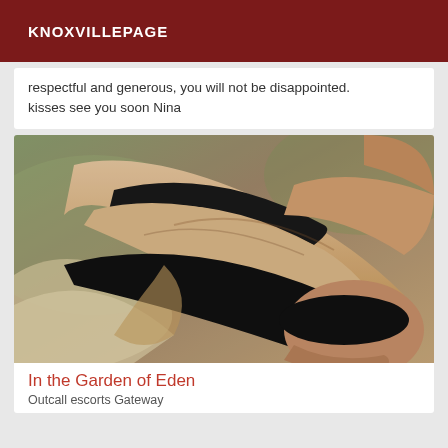KNOXVILLEPAGE
respectful and generous, you will not be disappointed.
kisses see you soon Nina
[Figure (photo): Photo of a person lying down wearing a black bikini/swimwear top, face partially visible, taken from above at an angle, warm tones.]
In the Garden of Eden
Outcall escorts Gateway